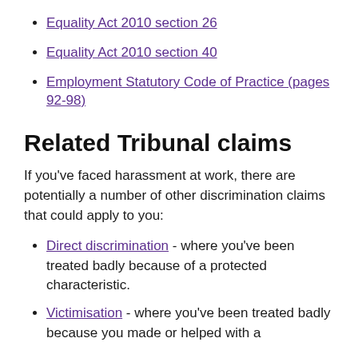Equality Act 2010 section 26
Equality Act 2010 section 40
Employment Statutory Code of Practice (pages 92-98)
Related Tribunal claims
If you've faced harassment at work, there are potentially a number of other discrimination claims that could apply to you:
Direct discrimination - where you've been treated badly because of a protected characteristic.
Victimisation - where you've been treated badly because you made or helped with a